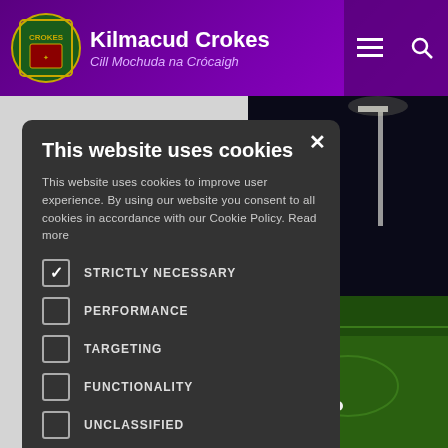Kilmacud Crokes — Cill Mochuda na Crócaigh
[Figure (screenshot): Website screenshot showing Kilmacud Crokes GAA club website with a cookie consent modal overlay. The header is purple with the club crest and name. Behind the modal is a nighttime football pitch photo. The modal is dark grey with cookie options.]
This website uses cookies
This website uses cookies to improve user experience. By using our website you consent to all cookies in accordance with our Cookie Policy. Read more
STRICTLY NECESSARY (checked)
PERFORMANCE
TARGETING
FUNCTIONALITY
UNCLASSIFIED
ACCEPT ALL
DECLINE ALL
SHOW DETAILS